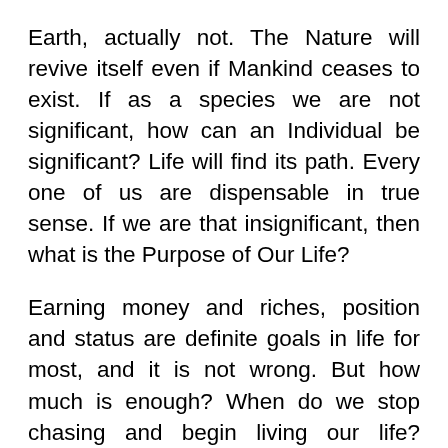Earth, actually not. The Nature will revive itself even if Mankind ceases to exist. If as a species we are not significant, how can an Individual be significant? Life will find its path. Every one of us are dispensable in true sense. If we are that insignificant, then what is the Purpose of Our Life?
Earning money and riches, position and status are definite goals in life for most, and it is not wrong. But how much is enough? When do we stop chasing and begin living our life? Happy family and good friends to share the precious time, where moments become cherished memories. Are these the purpose of life? Or is to